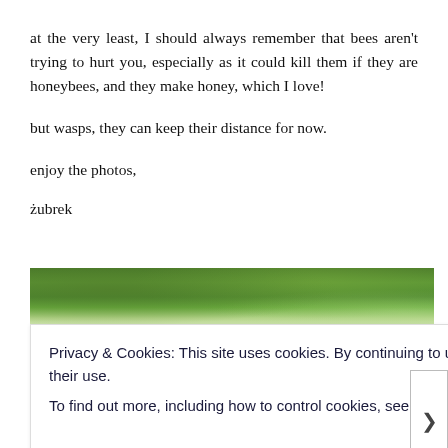at the very least, I should always remember that bees aren't trying to hurt you, especially as it could kill them if they are honeybees, and they make honey, which I love!
but wasps, they can keep their distance for now.
enjoy the photos,
żubrek
[Figure (photo): A strip of green tree foliage photographed from below, showing dense leaves against a bright sky.]
Privacy & Cookies: This site uses cookies. By continuing to use this website, you agree to their use.
To find out more, including how to control cookies, see here: Cookie Policy